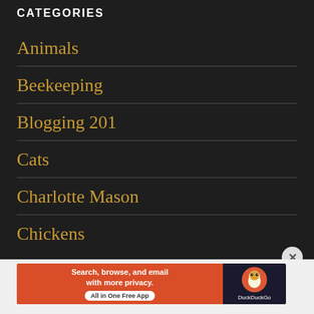CATEGORIES
Animals
Beekeeping
Blogging 201
Cats
Charlotte Mason
Chickens
Advertisements
[Figure (screenshot): Advertisement banner for DuckDuckGo: 'Search, browse, and email with more privacy. All in One Free App' with DuckDuckGo logo on dark background.]